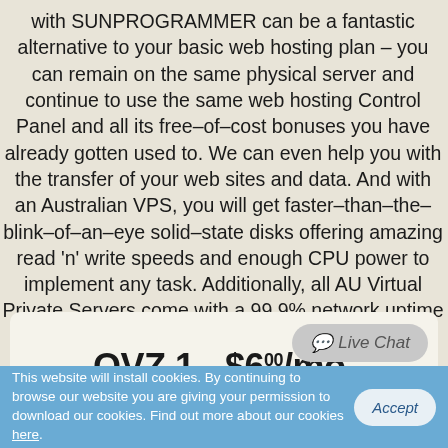with SUNPROGRAMMER can be a fantastic alternative to your basic web hosting plan – you can remain on the same physical server and continue to use the same web hosting Control Panel and all its free–of–cost bonuses you have already gotten used to. We can even help you with the transfer of your web sites and data. And with an Australian VPS, you will get faster–than–the–blink–of–an–eye solid–state disks offering amazing read 'n' write speeds and enough CPU power to implement any task. Additionally, all AU Virtual Private Servers come with a 99.9% network uptime guarantee.
OVZ 1 - $6.00/mo.
Live Chat
This website will install cookies. By continuing to browse our website you are giving your permission to download our cookies. Find out more about our cookies here.